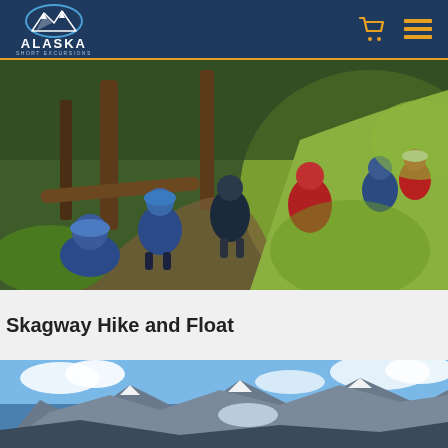Alaska Shore Excursions
[Figure (photo): Group of children and adults hiking on a forest trail with green moss-covered hillside, wearing colorful jackets]
Skagway Hike and Float
[Figure (photo): Mountain landscape with snow-capped peaks under blue sky with clouds]